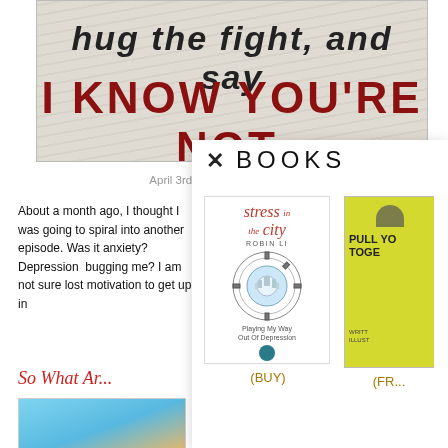[Figure (illustration): Banner image with diagonal line texture background. Top text in dark italic bold: 'hug the fight, and say'. Bottom text in large dark red bold: 'I KNOW YOU'RE NOT.']
April 3rd, 2017 | 4 Comments
About a month ago, I thought I was going to spiral into another episode. Was it anxiety? Depression... bugging me? I am not sure... lost motivation to get up in...
So What An...
[Figure (illustration): Partial lower-left image showing a figure with sunglasses against a blue/beach background.]
[Figure (illustration): Overlay popup panel with X close button and BOOKS heading. Shows book cover 'stress in the city - Playing My Way Out Of Depression' with a circular city emblem graphic, a (BUY) link below.]
[Figure (illustration): Second book partially visible: yellow cover 'PULL YO... TOGE...' with a (FR... link below.]